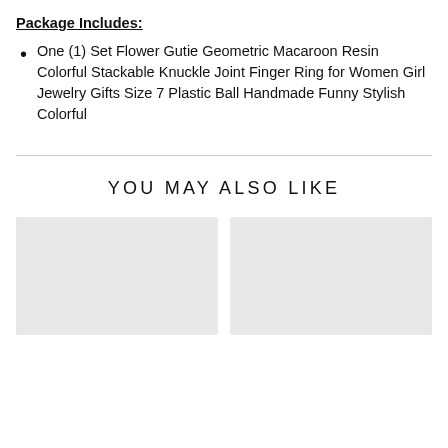Package Includes:
One (1) Set Flower Gutie Geometric Macaroon Resin Colorful Stackable Knuckle Joint Finger Ring for Women Girl Jewelry Gifts Size 7 Plastic Ball Handmade Funny Stylish Colorful
YOU MAY ALSO LIKE
[Figure (photo): Two product image placeholder boxes shown side by side (gray rectangles)]